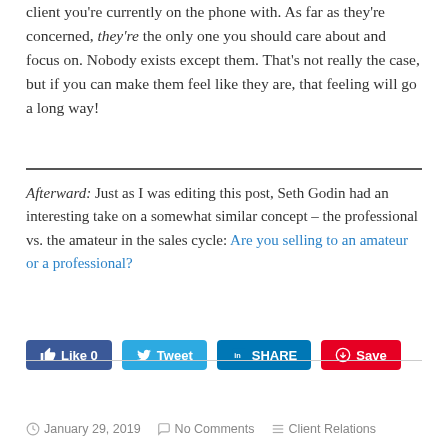client you're currently on the phone with. As far as they're concerned, they're the only one you should care about and focus on. Nobody exists except them. That's not really the case, but if you can make them feel like they are, that feeling will go a long way!
Afterward: Just as I was editing this post, Seth Godin had an interesting take on a somewhat similar concept – the professional vs. the amateur in the sales cycle: Are you selling to an amateur or a professional?
January 29, 2019   No Comments   Client Relations